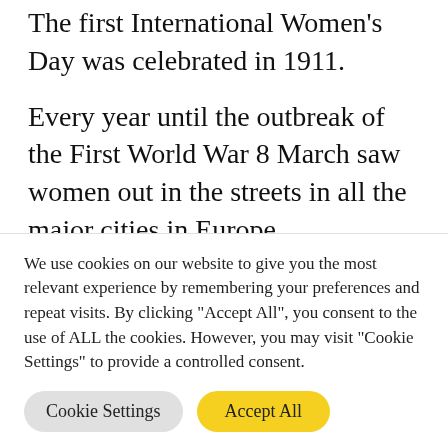The first International Women's Day was celebrated in 1911.
Every year until the outbreak of the First World War 8 March saw women out in the streets in all the major cities in Europe.
But the most important one of the 20th century was celebrated in Russia in 1917. Demonstrations on the day were the spark that ignited the Russian Revolution...
We use cookies on our website to give you the most relevant experience by remembering your preferences and repeat visits. By clicking "Accept All", you consent to the use of ALL the cookies. However, you may visit "Cookie Settings" to provide a controlled consent.